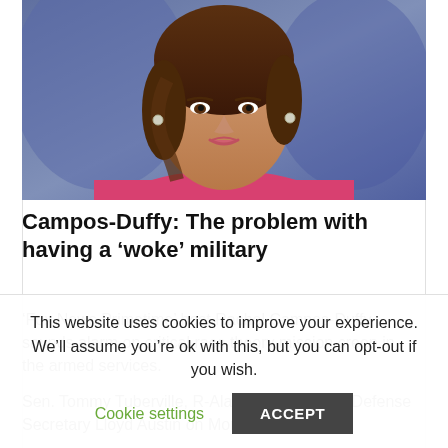[Figure (photo): Headshot of Rachel Campos-Duffy, a woman with brown hair, wearing a pink outfit, against a blue-purple background]
Campos-Duffy: The problem with having a ‘woke’ military
‘Fox News Primetime’ host Rachel Campos-Duffy sounds alarm on critical race theory mission creep in the armed services.
Sen. Tommy Tuberville, R-Ala., sent a letter to Defense Secretary Lloyd Austin on Monday
This website uses cookies to improve your experience. We’ll assume you’re ok with this, but you can opt-out if you wish.